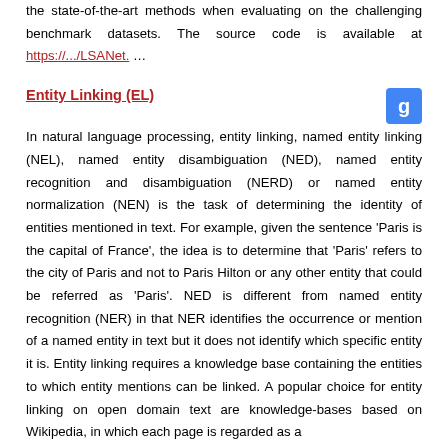the state-of-the-art methods when evaluating on the challenging benchmark datasets. The source code is available at https://.../LSANet. …
Entity Linking (EL)
In natural language processing, entity linking, named entity linking (NEL), named entity disambiguation (NED), named entity recognition and disambiguation (NERD) or named entity normalization (NEN) is the task of determining the identity of entities mentioned in text. For example, given the sentence 'Paris is the capital of France', the idea is to determine that 'Paris' refers to the city of Paris and not to Paris Hilton or any other entity that could be referred as 'Paris'. NED is different from named entity recognition (NER) in that NER identifies the occurrence or mention of a named entity in text but it does not identify which specific entity it is. Entity linking requires a knowledge base containing the entities to which entity mentions can be linked. A popular choice for entity linking on open domain text are knowledge-bases based on Wikipedia, in which each page is regarded as a